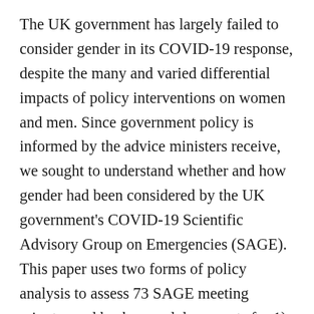The UK government has largely failed to consider gender in its COVID-19 response, despite the many and varied differential impacts of policy interventions on women and men. Since government policy is informed by the advice ministers receive, we sought to understand whether and how gender had been considered by the UK government's COVID-19 Scientific Advisory Group on Emergencies (SAGE). This paper uses two forms of policy analysis to assess 73 SAGE meeting minutes and background documents for 1) the explicit references to sex and/or gender, and 2) references to issues evidenced in the literature to be gendered, to understand whether the gendered implications of policy were considered. We find that the